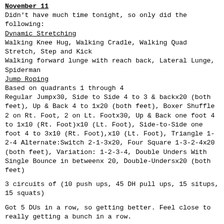[B][U]November 11[/U][/B]
Didn't have much time tonight, so only did the following:
[U]Dynamic Stretching[/U]
Walking Knee Hug, Walking Cradle, Walking Quad Stretch, Step and Kick
Walking forward lunge with reach back, Lateral Lunge, Spiderman
[U]Jump Roping[/U]
Based on quadrants 1 through 4
Regular Jumpx30, Side to Side 4 to 3 & backx20 (both feet), Up & Back 4 to 1x20 (both feet), Boxer Shuffle 2 on Rt. Foot, 2 on Lt. Footx30, Up & Back one foot 4 to 1x10 (Rt. Foot)x10 (Lt. Foot), Side-to-Side one foot 4 to 3x10 (Rt. Foot),x10 (Lt. Foot), Triangle 1-2-4 Alternate:Switch 2-1-3x20, Four Square 1-3-2-4x20 (both feet), Variation: 1-2-3-4, Double Unders With Single Bounce in betweenx 20, Double-Undersx20 (both feet)
3 circuits of (10 push ups, 45 DH pull ups, 15 situps, 15 squats)
Got 5 DUs in a row, so getting better. Feel close to really getting a bunch in a row.
[B][U]November 12[/U][/B]
Same as November 11, with:
2.6 mile hill run at the end.
Got 10 DUs in a row separated by singles
[B][U]November 13[/U][/B]
Same as November 11 with:
Overhead squat: 45-60-75-90(PR by 10#), 100 (pr by 20#)
Front squat: 115, 135, 165, 200, 220 (pr by 15#)
Back squat: 245, 260, 275, 300, 305 (f)